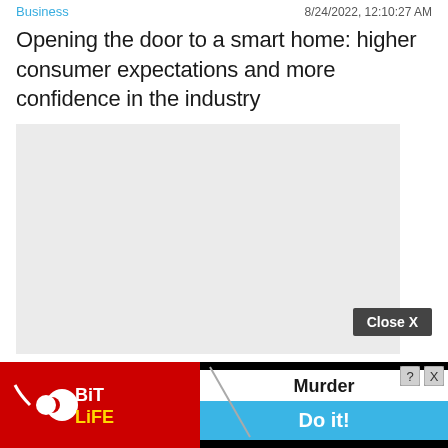Business   8/24/2022, 12:10:27 AM
Opening the door to a smart home: higher consumer expectations and more confidence in the industry
[Figure (other): Light gray image placeholder rectangle]
Business   8/23/2022, 10:00:41 PM
The spread of the “de-Russia” movement What companies? How does it affect your life?
[Figure (other): Close X button overlay and BitLife advertisement banner at bottom of page]